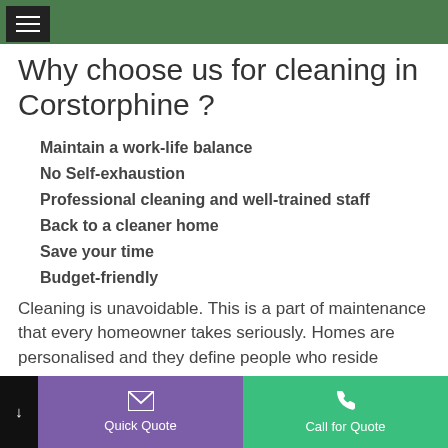≡ (hamburger menu)
Why choose us for cleaning in Corstorphine ?
Maintain a work-life balance
No Self-exhaustion
Professional cleaning and well-trained staff
Back to a cleaner home
Save your time
Budget-friendly
Cleaning is unavoidable. This is a part of maintenance that every homeowner takes seriously. Homes are personalised and they define people who reside inside.
Quick Quote | Call for Quote